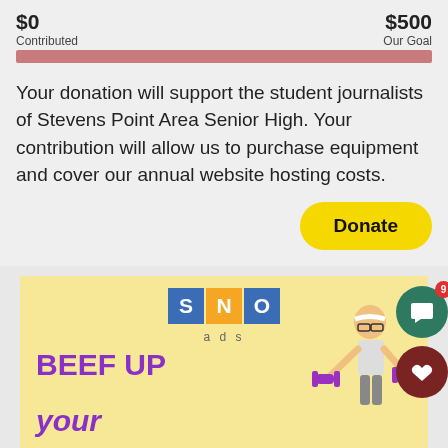[Figure (infographic): Donation progress bar showing $0 Contributed on left and $500 Our Goal on right, with a filled red/pink horizontal bar below]
Your donation will support the student journalists of Stevens Point Area Senior High. Your contribution will allow us to purchase equipment and cover our annual website hosting costs.
[Figure (infographic): Yellow rounded Donate button]
[Figure (infographic): SNO ads advertisement banner with yellow background, SNO logo in blue and orange squares, purple text BEEF UP your, and a cartoon man lifting purple dumbbells]